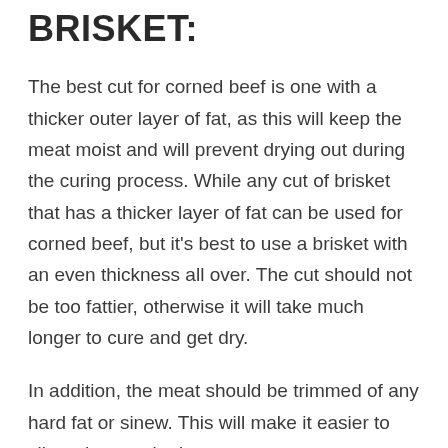BRISKET:
The best cut for corned beef is one with a thicker outer layer of fat, as this will keep the meat moist and will prevent drying out during the curing process. While any cut of brisket that has a thicker layer of fat can be used for corned beef, but it’s best to use a brisket with an even thickness all over. The cut should not be too fattier, otherwise it will take much longer to cure and get dry.
In addition, the meat should be trimmed of any hard fat or sinew. This will make it easier to slice when cooked.
WHAT ARE THE BENEFITS OF